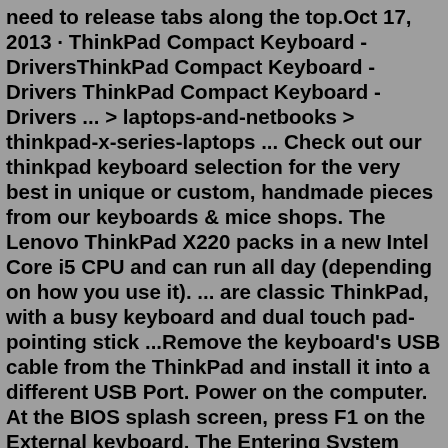need to release tabs along the top.Oct 17, 2013 · ThinkPad Compact Keyboard - DriversThinkPad Compact Keyboard - Drivers ThinkPad Compact Keyboard - Drivers ... > laptops-and-netbooks > thinkpad-x-series-laptops ... Check out our thinkpad keyboard selection for the very best in unique or custom, handmade pieces from our keyboards & mice shops. The Lenovo ThinkPad X220 packs in a new Intel Core i5 CPU and can run all day (depending on how you use it). ... are classic ThinkPad, with a busy keyboard and dual touch pad-pointing stick ...Remove the keyboard's USB cable from the ThinkPad and install it into a different USB Port. Power on the computer. At the BIOS splash screen, press F1 on the External keyboard. The Entering System Setup message should be displayed. If you are able to enter BIOS, make sure that you can navigate through the menus to ensure basic functionality.1-16 of over 1,000 results for "thinkpad keyboard" RESULTS Lenovo ThinkPad Compact USB Keyboard with TrackPoint - US English 544 $5999